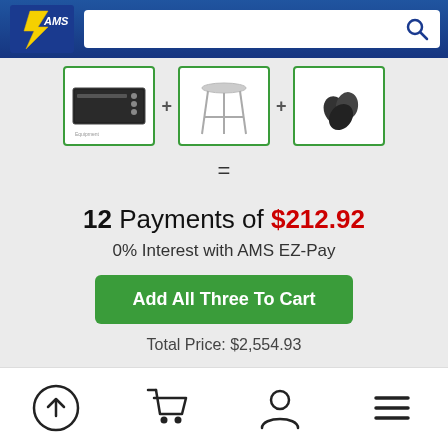[Figure (logo): AMS logo - yellow lightning bolt style with AMS text on blue background]
[Figure (screenshot): Search bar with magnifying glass icon on blue navigation header]
[Figure (photo): Three product thumbnail images with green borders: electronic device, stool/stand, and guitar picks]
=
12 Payments of $212.92
0% Interest with AMS EZ-Pay
Add All Three To Cart
Total Price: $2,554.93
[Figure (infographic): Bottom navigation bar icons: upload/back-to-top arrow in circle, shopping cart, user/person icon, hamburger menu]